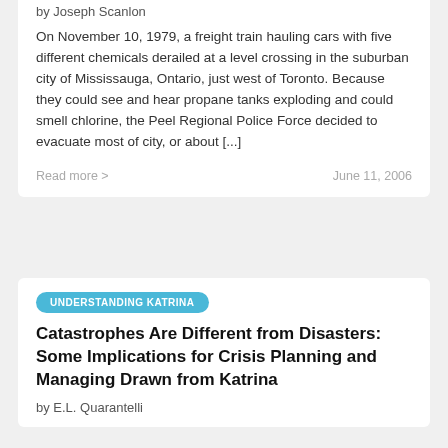by Joseph Scanlon
On November 10, 1979, a freight train hauling cars with five different chemicals derailed at a level crossing in the suburban city of Mississauga, Ontario, just west of Toronto. Because they could see and hear propane tanks exploding and could smell chlorine, the Peel Regional Police Force decided to evacuate most of city, or about [...]
Read more >
June 11, 2006
UNDERSTANDING KATRINA
Catastrophes Are Different from Disasters: Some Implications for Crisis Planning and Managing Drawn from Katrina
by E.L. Quarantelli